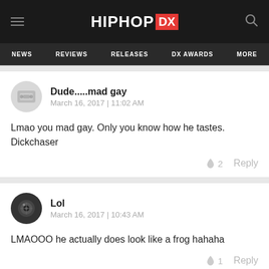HIPHOP DX — NEWS | REVIEWS | RELEASES | DX AWARDS | MORE
Dude.....mad gay
March 16, 2017 | 11:02 AM

Lmao you mad gay. Only you know how he tastes. Dickchaser
🔥 2   Reply
Lol
March 16, 2017 | 10:43 AM

LMAOOO he actually does look like a frog hahaha
🔥 1   Reply